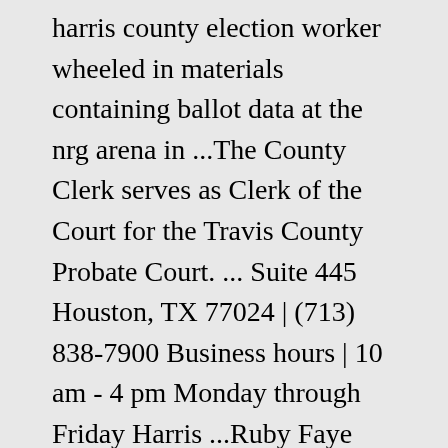harris county election worker wheeled in materials containing ballot data at the nrg arena in ...The County Clerk serves as Clerk of the Court for the Travis County Probate Court. ... Suite 445 Houston, TX 77024 | (713) 838-7900 Business hours | 10 am - 4 pm Monday through Friday Harris ...Ruby Faye Woolridge is one of two candidates seeking the Democratic nomination for Tarrant County Commissioner-Precinct 2.